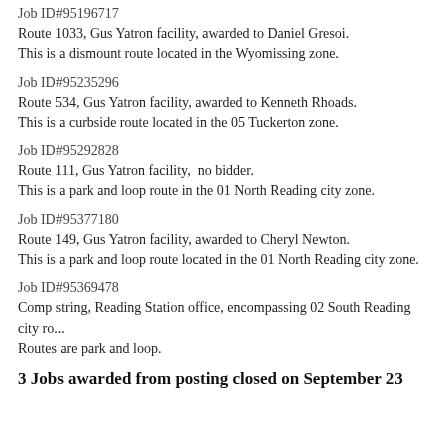Job ID#95196717
Route 1033, Gus Yatron facility, awarded to Daniel Gresoi.
This is a dismount route located in the Wyomissing zone.
Job ID#95235296
Route 534, Gus Yatron facility, awarded to Kenneth Rhoads.
This is a curbside route located in the 05 Tuckerton zone.
Job ID#95292828
Route 111, Gus Yatron facility,  no bidder.
This is a park and loop route in the 01 North Reading city zone.
Job ID#95377180
Route 149, Gus Yatron facility, awarded to Cheryl Newton.
This is a park and loop route located in the 01 North Reading city zone.
Job ID#95369478
Comp string, Reading Station office, encompassing 02 South Reading city ro...
Routes are park and loop.
3 Jobs awarded from posting closed on September 23